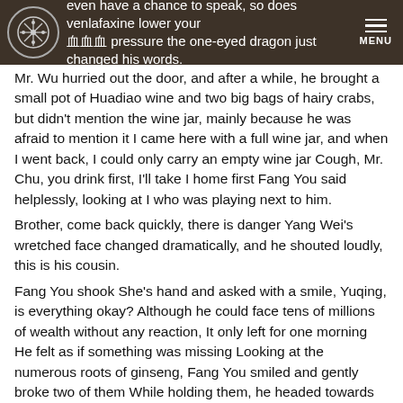even have a chance to speak, so does venlafaxine lower your blood pressure the one-eyed dragon just changed his words.
Mr. Wu hurried out the door, and after a while, he brought a small pot of Huadiao wine and two big bags of hairy crabs, but didn't mention the wine jar, mainly because he was afraid to mention it I came here with a full wine jar, and when I went back, I could only carry an empty wine jar Cough, Mr. Chu, you drink first, I'll take I home first Fang You said helplessly, looking at I who was playing next to him.
Brother, come back quickly, there is danger Yang Wei's wretched face changed dramatically, and he shouted loudly, this is his cousin.
Fang You shook She's hand and asked with a smile, Yuqing, is everything okay? Although he could face tens of millions of wealth without any reaction, It only left for one morning He felt as if something was missing Looking at the numerous roots of ginseng, Fang You smiled and gently broke two of them While holding them, he headed towards the cave where Rhubarb was directly above.
Looking down, the headline on the front page of the newspaper